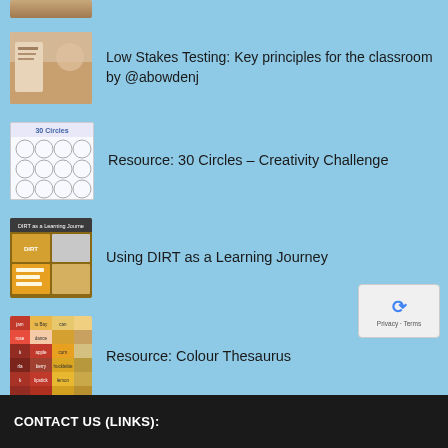[Figure (photo): Partial cropped image at top of page – appears to show someone writing or working, brown/tan tones]
Low Stakes Testing: Key principles for the classroom by @abowdenj
Resource: 30 Circles – Creativity Challenge
Using DIRT as a Learning Journey
Resource: Colour Thesaurus
CONTACT US (LINKS):